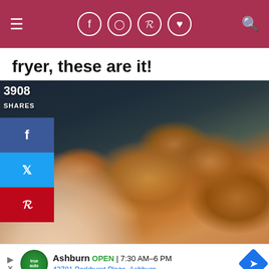Navigation bar with hamburger menu, social icons (facebook, instagram, pinterest, heart), search icon
fryer, these are it!
[Figure (photo): Close-up photo of crispy air fryer chicken pieces on a white plate, with a hand holding one piece in the foreground. Dark background.]
3908 SHARES
Advertisement: Ashburn OPEN | 7:30 AM–6 PM  43781 Parkhurst Plaza, Ashburn